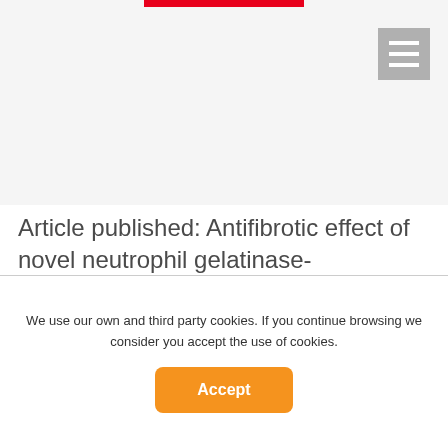[Figure (other): Red horizontal bar at top center of page, website navigation element]
[Figure (other): Grey hamburger/menu icon button in top right corner]
Article published: Antifibrotic effect of novel neutrophil gelatinase-associated lipocalin inhibitors in cardiac and renal disease models
12/03/2021
Details ▶
We use our own and third party cookies. If you continue browsing we consider you accept the use of cookies.